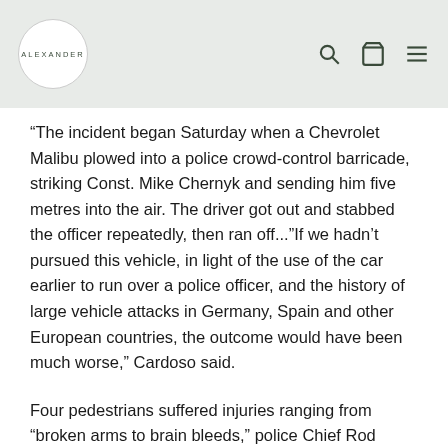ALEXANDER
“The incident began Saturday when a Chevrolet Malibu plowed into a police crowd-control barricade, striking Const. Mike Chernyk and sending him five metres into the air. The driver got out and stabbed the officer repeatedly, then ran off...”If we hadn’t pursued this vehicle, in light of the use of the car earlier to run over a police officer, and the history of large vehicle attacks in Germany, Spain and other European countries, the outcome would have been much worse,” Cardoso said.
Four pedestrians suffered injuries ranging from "broken arms to brain bleeds," police Chief Rod Knecht said during Sunday's police news conference.
Two pedestrians have since been released from hospital.